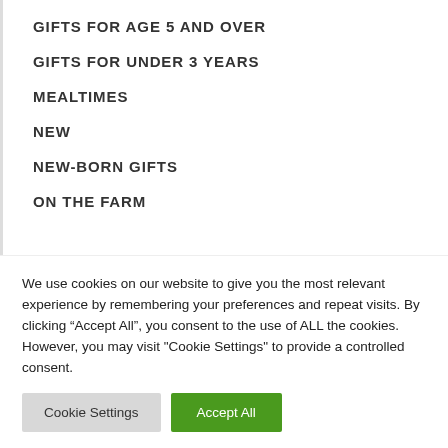GIFTS FOR AGE 5 AND OVER
GIFTS FOR UNDER 3 YEARS
MEALTIMES
NEW
NEW-BORN GIFTS
ON THE FARM
We use cookies on our website to give you the most relevant experience by remembering your preferences and repeat visits. By clicking “Accept All”, you consent to the use of ALL the cookies. However, you may visit "Cookie Settings" to provide a controlled consent.